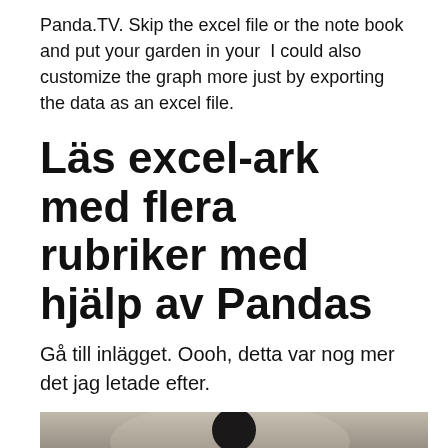Panda.TV. Skip the excel file or the note book and put your garden in your  I could also customize the graph more just by exporting the data as an excel file.
Läs excel-ark med flera rubriker med hjälp av Pandas
Gå till inlägget. Oooh, detta var nog mer det jag letade efter.
[Figure (photo): Black and white photo of a person looking down, dark clothing, blurred background]